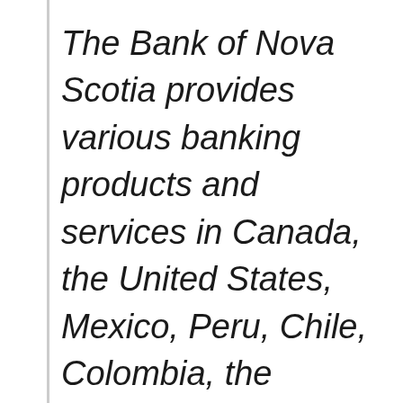The Bank of Nova Scotia provides various banking products and services in Canada, the United States, Mexico, Peru, Chile, Colombia, the Caribbean and Central America, and